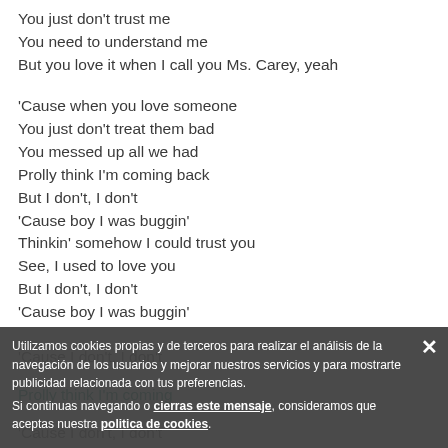You just don't trust me
You need to understand me
But you love it when I call you Ms. Carey, yeah
'Cause when you love someone
You just don't treat them bad
You messed up all we had
Prolly think I'm coming back
But I don't, I don't
'Cause boy I was buggin'
Thinkin' somehow I could trust you
See, I used to love you
But I don't, I don't
'Cause boy I was buggin'
'Cause I don't, I don't
Prolly think I'm coming
'Cause I don't, I don't
Amazones
Utilizamos cookies propias y de terceros para realizar el análisis de la navegación de los usuarios y mejorar nuestros servicios y para mostrarte publicidad relacionada con tus preferencias.
Si continuas navegando o cierras este mensaje, consideramos que aceptas nuestra politica de cookies.